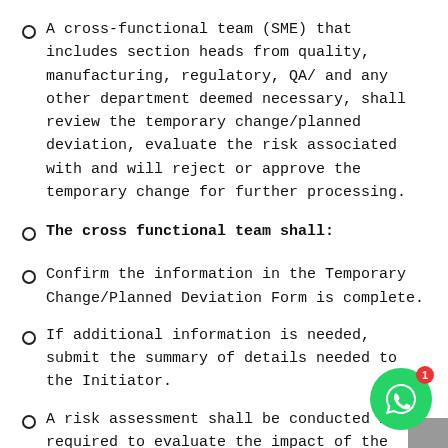A cross-functional team (SME) that includes section heads from quality, manufacturing, regulatory, QA/ and any other department deemed necessary, shall review the temporary change/planned deviation, evaluate the risk associated with and will reject or approve the temporary change for further processing.
The cross functional team shall:
Confirm the information in the Temporary Change/Planned Deviation Form is complete.
If additional information is needed, submit the summary of details needed to the Initiator.
A risk assessment shall be conducted if required to evaluate the impact of the